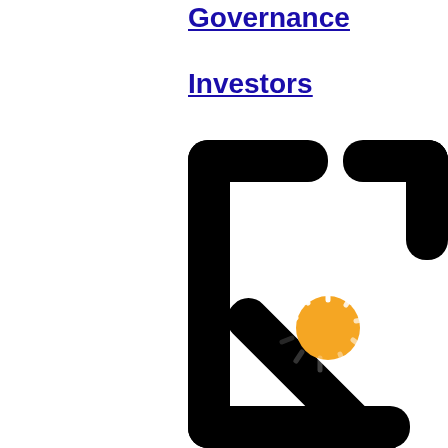Governance
Investors
[Figure (other): External link icon — a square with an arrow pointing to the upper right, partially cropped at the right edge. A small yellow loading/spinner circle overlay appears in the center-left of the icon.]